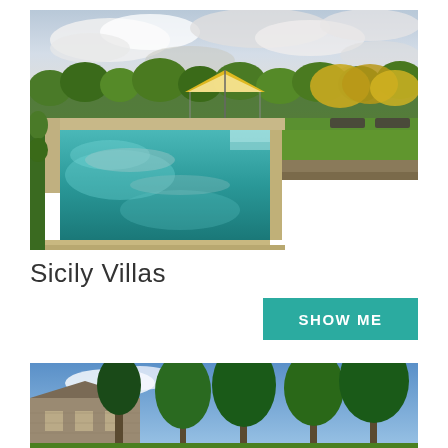[Figure (photo): Outdoor swimming pool with turquoise water reflecting cloudy sky, yellow and white canopy gazebo, lounge chairs, lush green lawn, hedges and mountains in background. Sicily villa setting.]
Sicily Villas
SHOW ME
[Figure (photo): Stone villa building surrounded by tall green trees under blue sky, partial view of second Sicily villa property.]